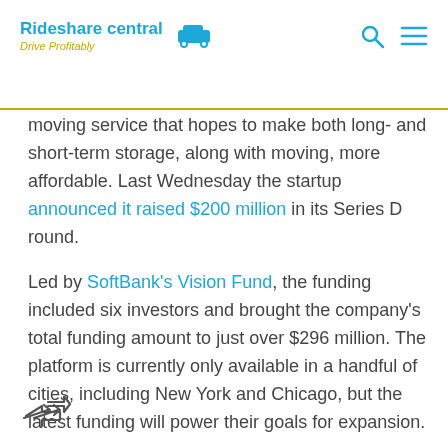Rideshare central Drive Profitably
moving service that hopes to make both long- and short-term storage, along with moving, more affordable. Last Wednesday the startup announced it raised $200 million in its Series D round.
Led by SoftBank's Vision Fund, the funding included six investors and brought the company's total funding amount to just over $296 million. The platform is currently only available in a handful of cities, including New York and Chicago, but the latest funding will power their goals for expansion.